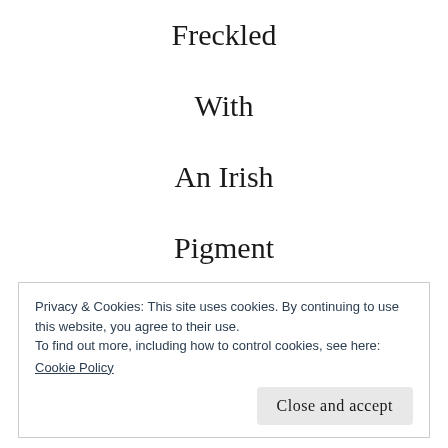Freckled
With
An Irish
Pigment
From my
Privacy & Cookies: This site uses cookies. By continuing to use this website, you agree to their use.
To find out more, including how to control cookies, see here:
Cookie Policy
Close and accept